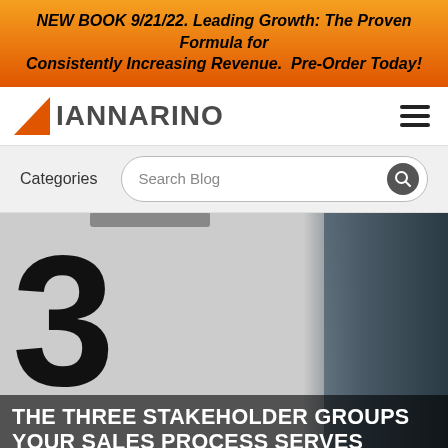NEW BOOK 9/21/22. Leading Growth: The Proven Formula for Consistently Increasing Revenue. Pre-Order Today!
[Figure (logo): Iannarino logo with orange triangle and gray text, plus hamburger menu icon]
Categories   Search Blog
[Figure (photo): Person holding a clipboard displaying the number 3, with blurred background]
THE THREE STAKEHOLDER GROUPS YOUR SALES PROCESS SERVES